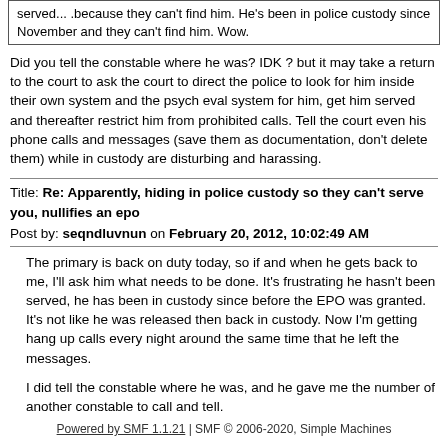served... .because they can't find him.  He's been in police custody since November and they can't find him.  Wow.
Did you tell the constable where he was?  IDK ? but it may take a return to the court to ask the court to direct the police to look for him inside their own system and the psych eval system for him, get him served and thereafter restrict him from prohibited calls.  Tell the court even his phone calls and messages (save them as documentation, don't delete them) while in custody are disturbing and harassing.
Title: Re: Apparently, hiding in police custody so they can't serve you, nullifies an epo
Post by: seqndluvnun on February 20, 2012, 10:02:49 AM
The primary is back on duty today, so if and when he gets back to me, I'll ask him what needs to be done.  It's frustrating he hasn't been served, he has been in custody since before the EPO was granted.  It's not like he was released then back in custody.  Now I'm getting hang up calls every night around the same time that he left the messages.
I did tell the constable where he was, and he gave me the number of another constable to call and tell.
Powered by SMF 1.1.21 | SMF © 2006-2020, Simple Machines